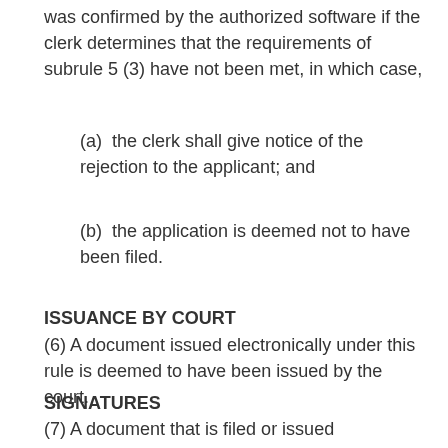was confirmed by the authorized software if the clerk determines that the requirements of subrule 5 (3) have not been met, in which case,
(a)  the clerk shall give notice of the rejection to the applicant; and
(b)  the application is deemed not to have been filed.
ISSUANCE BY COURT
(6) A document issued electronically under this rule is deemed to have been issued by the court.
SIGNATURES
(7) A document that is filed or issued electronically under this rule may be signed with an electronic signature, as defined in the Electronic Commerce